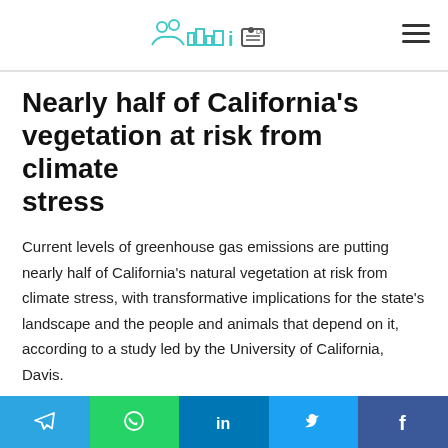[Logo: website header with icon]
Nearly half of California’s vegetation at risk from climate stress
Current levels of greenhouse gas emissions are putting nearly half of California’s natural vegetation at risk from climate stress, with transformative implications for the state’s landscape and the people and animals that depend on it, according to a study led by the University of California, Davis.
However, cutting emissions so that global temperatures increase by no more than 2 degrees Celsius (3.2 degrees Fahrenheit) could reduce those impacts by half, with about a
Telegram | WhatsApp | LinkedIn | Twitter | Facebook